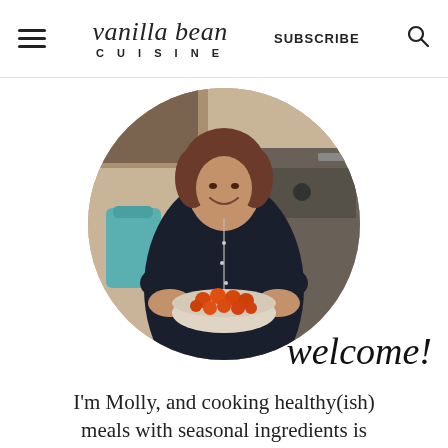vanilla bean CUISINE | SUBSCRIBE
[Figure (photo): A smiling woman in a black top with a long necklace, standing in a kitchen, holding a white bowl filled with cherry tomatoes. The photo is displayed in a circular crop.]
welcome!
I'm Molly, and cooking healthy(ish) meals with seasonal ingredients is